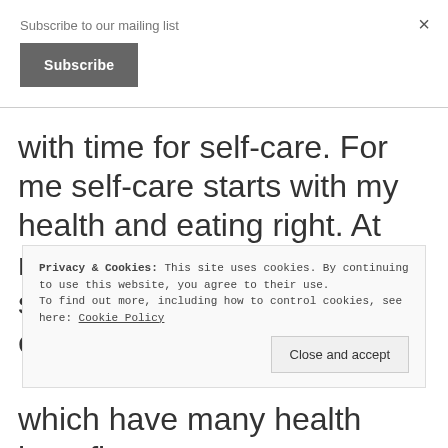Subscribe to our mailing list
Subscribe
×
with time for self-care. For me self-care starts with my health and eating right. At night I meal prep to make sure I'm eating right everyday
Privacy & Cookies: This site uses cookies. By continuing to use this website, you agree to their use.
To find out more, including how to control cookies, see here: Cookie Policy
Close and accept
which have many health benefits